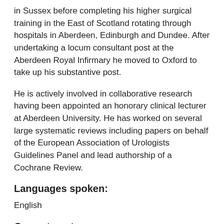in Sussex before completing his higher surgical training in the East of Scotland rotating through hospitals in Aberdeen, Edinburgh and Dundee. After undertaking a locum consultant post at the Aberdeen Royal Infirmary he moved to Oxford to take up his substantive post.
He is actively involved in collaborative research having been appointed an honorary clinical lecturer at Aberdeen University. He has worked on several large systematic reviews including papers on behalf of the European Association of Urologists Guidelines Panel and lead authorship of a Cochrane Review.
Languages spoken:
English
Current posts:
Buckinghamshire NHS Hospitals Trust
Oxford University NHS Hospitals Trust